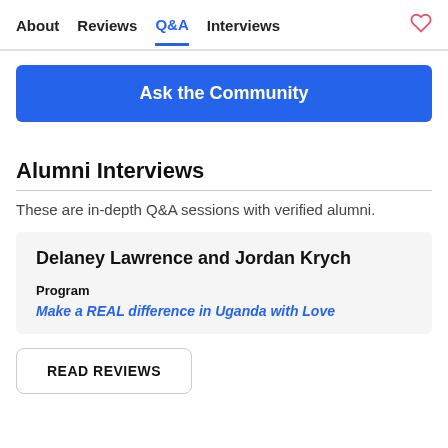About  Reviews  Q&A  Interviews
Ask the Community
Alumni Interviews
These are in-depth Q&A sessions with verified alumni.
Delaney Lawrence and Jordan Krych
Program
Make a REAL difference in Uganda with Love
READ REVIEWS